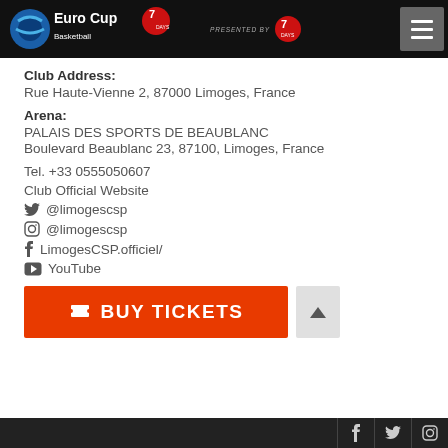EuroCup 7Days — PRESENTED BY 7Days
Club Address:
Rue Haute-Vienne 2, 87000 Limoges, France
Arena:
PALAIS DES SPORTS DE BEAUBLANC
Boulevard Beaublanc 23, 87100, Limoges, France
Tel. +33 0555050607
Club Official Website
@limogescsp
@limogescsp
LimogesCSP.officiel/
YouTube
[Figure (other): Orange BUY TICKETS button with ticket icon]
Social media icons: Facebook, Twitter, Instagram